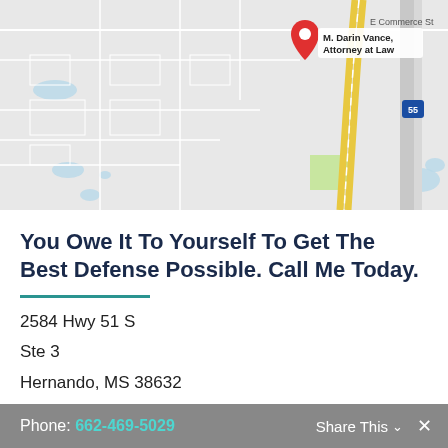[Figure (map): Google Maps screenshot showing location pin for M. Darin Vance, Attorney at Law near E Commerce St, with road network visible including a yellow highway running north-south and I-55 in the upper right.]
You Owe It To Yourself To Get The Best Defense Possible. Call Me Today.
2584 Hwy 51 S
Ste 3
Hernando, MS 38632
Phone: 662-469-5029